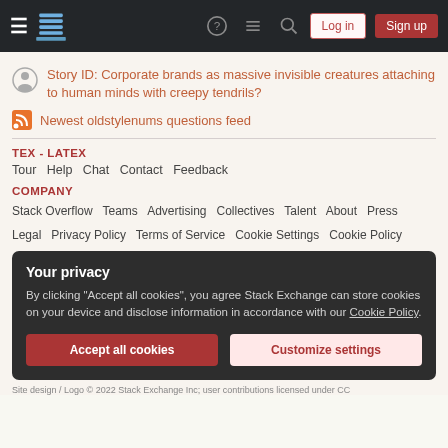Stack Exchange navigation bar with hamburger menu, logo, help, chat, search icons, Log in and Sign up buttons
Story ID: Corporate brands as massive invisible creatures attaching to human minds with creepy tendrils?
Newest oldstylenums questions feed
TEX - LATEX
Tour  Help  Chat  Contact  Feedback
COMPANY
Stack Overflow  Teams  Advertising  Collectives  Talent  About  Press
Legal  Privacy Policy  Terms of Service  Cookie Settings  Cookie Policy
Your privacy
By clicking "Accept all cookies", you agree Stack Exchange can store cookies on your device and disclose information in accordance with our Cookie Policy.
Accept all cookies  Customize settings
Site design / Logo © 2022 Stack Exchange Inc; user contributions licensed under CC